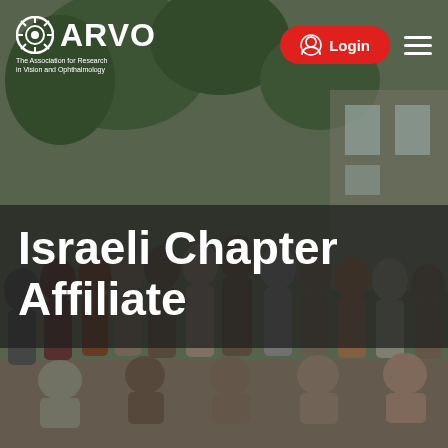[Figure (photo): Group photo of approximately 25 people standing and sitting outdoors in front of trees and a building, in a garden setting. This is the Israeli Chapter Affiliate group photo.]
ARVO - The Association for Research in Vision and Ophthalmology | Login | Navigation menu
Israeli Chapter Affiliate